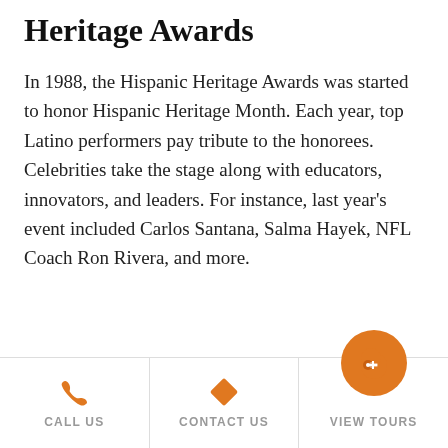Heritage Awards
In 1988, the Hispanic Heritage Awards was started to honor Hispanic Heritage Month. Each year, top Latino performers pay tribute to the honorees. Celebrities take the stage along with educators, innovators, and leaders. For instance, last year's event included Carlos Santana, Salma Hayek, NFL Coach Ron Rivera, and more.
CALL US | CONTACT US | VIEW TOURS